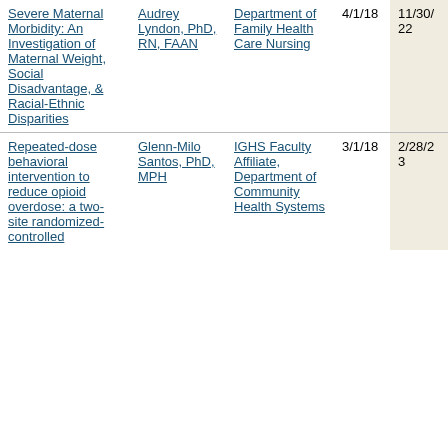| Severe Maternal Morbidity: An Investigation of Maternal Weight, Social Disadvantage, & Racial-Ethnic Disparities | Audrey Lyndon, PhD, RN, FAAN | Department of Family Health Care Nursing | 4/1/18 | 11/30/22 |
| Repeated-dose behavioral intervention to reduce opioid overdose: a two-site randomized-controlled | Glenn-Milo Santos, PhD, MPH | IGHS Faculty Affiliate, Department of Community Health Systems | 3/1/18 | 2/28/23 |